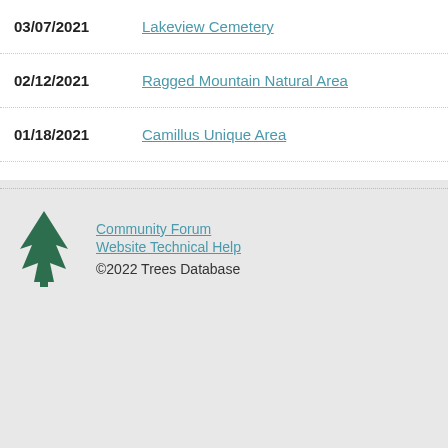| Date | Location |
| --- | --- |
| 03/07/2021 | Lakeview Cemetery |
| 02/12/2021 | Ragged Mountain Natural Area |
| 01/18/2021 | Camillus Unique Area |
Community Forum | Website Technical Help | ©2022 Trees Database